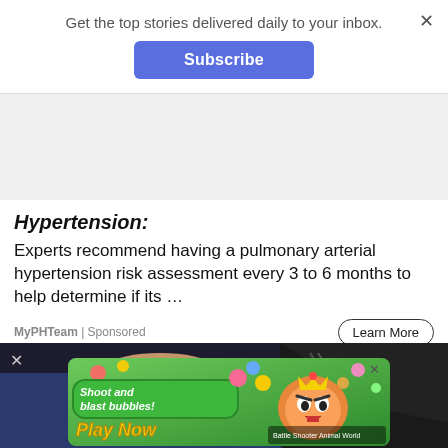Get the top stories delivered daily to your inbox.
Subscribe
Hypertension:
Experts recommend having a pulmonary arterial hypertension risk assessment every 3 to 6 months to help determine if its …
MyPHTeam | Sponsored
Learn More
[Figure (photo): Close-up photo of a person in handcuffs, dark background showing jeans and jacket]
[Figure (screenshot): Mobile game advertisement with green background showing cartoon characters, text reads 'Shoot and blast bubbles! Play Now' with Battle Shooter Animal World branding]